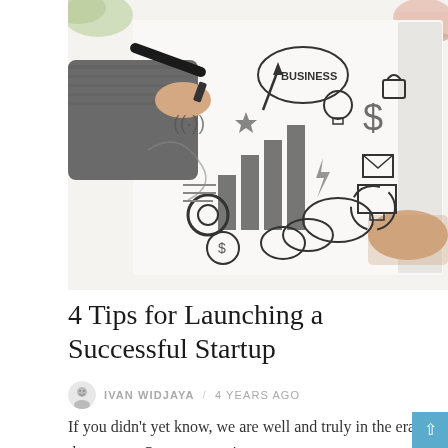[Figure (photo): Overhead photo of two hands holding a sketchbook filled with business doodles and icons (bar charts, dollar signs, arrows, light bulb, gears, etc.), with a marker pen being used on the page. A plant leaf and pink cup visible in background on white surface.]
4 Tips for Launching a Successful Startup
IVAN WIDJAYA / 4 YEARS AGO
If you didn't yet know, we are well and truly in the era of the startup. Once upon a time, entrepreneurs were struggling to make the jump, now it is… Read more »